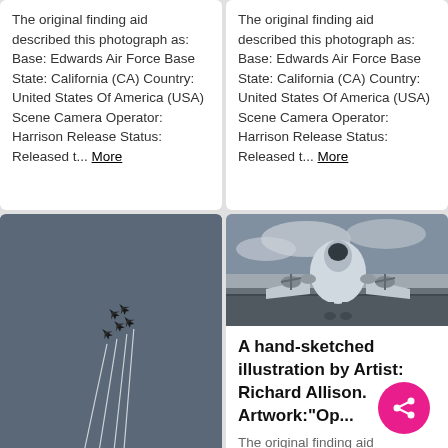The original finding aid described this photograph as: Base: Edwards Air Force Base State: California (CA) Country: United States Of America (USA) Scene Camera Operator: Harrison Release Status: Released t... More
The original finding aid described this photograph as: Base: Edwards Air Force Base State: California (CA) Country: United States Of America (USA) Scene Camera Operator: Harrison Release Status: Released t... More
[Figure (photo): Formation of military jet aircraft (Thunderbirds) flying with contrails against a dark blue-grey sky]
[Figure (photo): Front view of a large propeller-driven military aircraft (bomber) on the ground with crowd in background and cloudy sky]
A hand-sketched illustration by Artist: Richard Allison. Artwork:"Op...
The original finding aid described this photograph